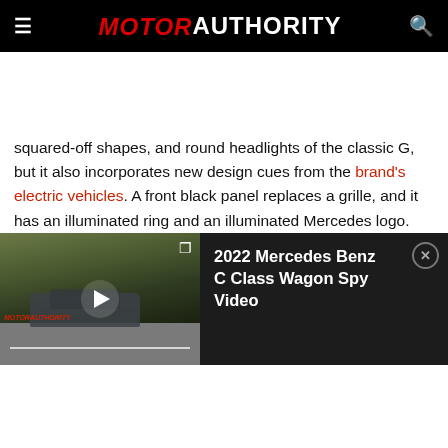MOTOR AUTHORITY
squared-off shapes, and round headlights of the classic G, but it also incorporates new design cues from the brand's electric vehicles. A front black panel replaces a grille, and it has an illuminated ring and an illuminated Mercedes logo.
[Figure (screenshot): Video player bar showing a 2022 Mercedes Benz C Class Wagon spy video thumbnail with a play button, and the title '2022 Mercedes Benz C Class Wagon Spy Video' on the right side with a close button.]